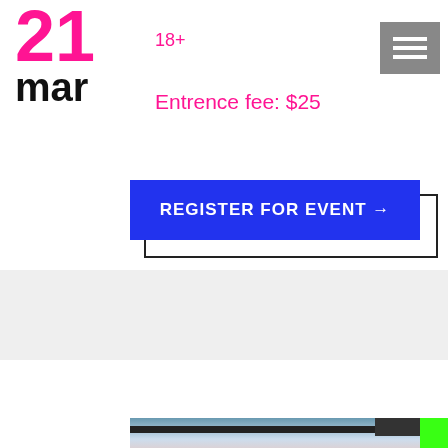21
18+
mar
Entrence fee: $25
[Figure (other): Hamburger menu button icon (grey square with three white horizontal lines)]
REGISTER FOR EVENT →
[Figure (photo): Graffiti wall photo with colorful street art, dark horizontal bar across top, blue sky visible, green strip on right edge]